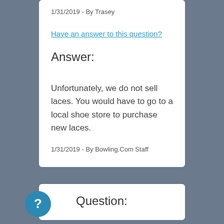1/31/2019 - By Trasey
Have an answer to this question?
Answer:
Unfortunately, we do not sell laces. You would have to go to a local shoe store to purchase new laces.
1/31/2019 - By Bowling.Com Staff
Question: